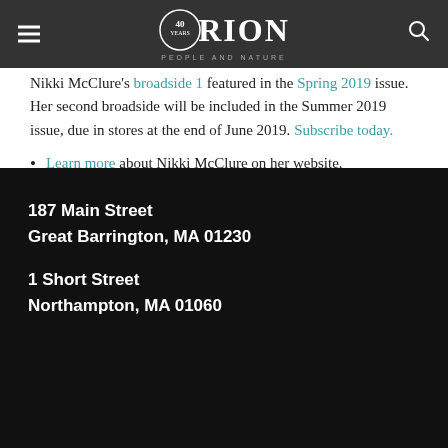Orion Magazine — 40 years — People and Nature
Nikki McClure's broadside 1 featured in the Spring 2019 issue. Her second broadside will be included in the Summer 2019 issue, due in stores at the end of June 2019. Subscribe today.
Learn more about Nikki McClure on her website.
Here's a short film about Nikki's work.
Nicholas Triolo is Orion's former Digital Strategist and Online Editor.
187 Main Street
Great Barrington, MA 01230

1 Short Street
Northampton, MA 01060